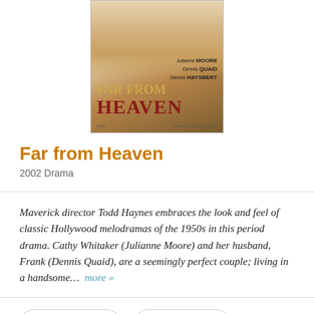[Figure (illustration): DVD cover of Far from Heaven showing Julianne Moore and a man in background, with title text FAR FROM HEAVEN in gold and red, cast names Julianne Moore, Dennis Quaid, Dennis Haysbert listed on right side]
Far from Heaven
2002 Drama
Maverick director Todd Haynes embraces the look and feel of classic Hollywood melodramas of the 1950s in this period drama. Cathy Whitaker (Julianne Moore) and her husband, Frank (Dennis Quaid), are a seemingly perfect couple; living in a handsome...  more »
30 Reviews   40 Awards